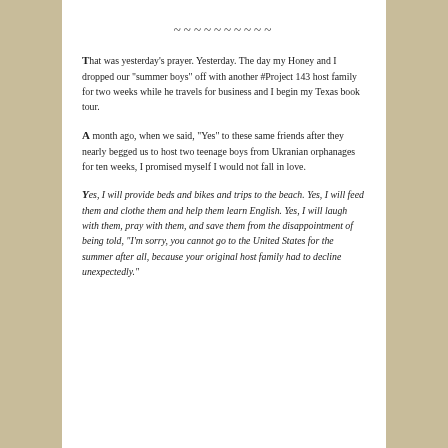~~~~~~~~~~
That was yesterday’s prayer. Yesterday. The day my Honey and I dropped our “summer boys” off with another #Project 143 host family for two weeks while he travels for business and I begin my Texas book tour.
A month ago, when we said, “Yes” to these same friends after they nearly begged us to host two teenage boys from Ukranian orphanages for ten weeks, I promised myself I would not fall in love.
Yes, I will provide beds and bikes and trips to the beach. Yes, I will feed them and clothe them and help them learn English. Yes, I will laugh with them, pray with them, and save them from the disappointment of being told, "I'm sorry, you cannot go to the United States for the summer after all, because your original host family had to decline unexpectedly."